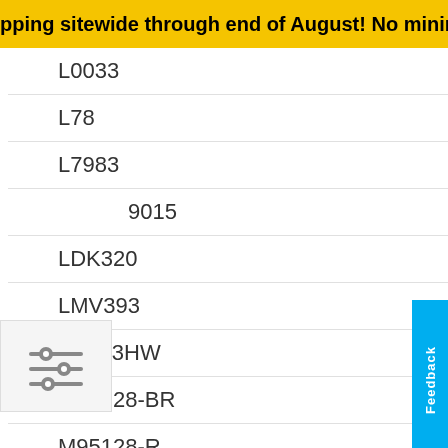pping sitewide through end of August! No minimum purchase o
L0033
L78
L7983
9015
LDK320
LMV393
LPS33HW
M24128-BR
M95128-R
MLPF-WB55-01E3
MP23DB01HP